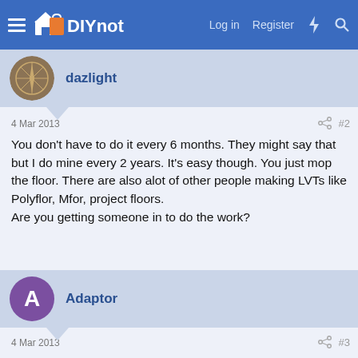DIYnot — Log in Register
dazlight
4 Mar 2013 #2
You don't have to do it every 6 months. They might say that but I do mine every 2 years. It's easy though. You just mop the floor. There are also alot of other people making LVTs like Polyflor, Mfor, project floors.
Are you getting someone in to do the work?
Adaptor
4 Mar 2013 #3
dazlight said: You don't have to do it every 6 months. They might say that but I do